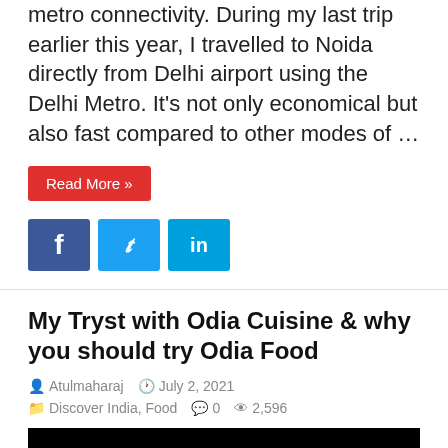metro connectivity. During my last trip earlier this year, I travelled to Noida directly from Delhi airport using the Delhi Metro. It's not only economical but also fast compared to other modes of …
Read More »
[Figure (other): Social media share buttons: Facebook (f), Twitter (bird), LinkedIn (in)]
My Tryst with Odia Cuisine & why you should try Odia Food
Atulmaharaj  July 2, 2021  Discover India, Food  0  2,596
[Figure (photo): Black image placeholder for article]